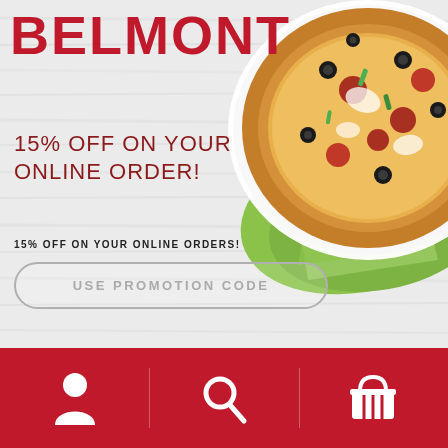BELMONT
15% OFF ON YOUR ONLINE ORDER!
15% OFF ON YOUR ONLINE ORDERS!
USE PROMOTION CODE
[Figure (photo): A pizza topped with olives, pepperoni, cheese, and vegetables on a white plate, with a green napkin underneath, on a white wood surface.]
[Figure (infographic): Red navigation bar at bottom with three white icons: person/user icon (left), search magnifying glass icon (center), shopping basket icon (right), separated by vertical lines.]